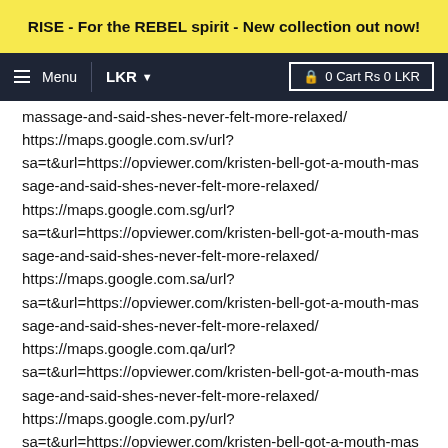RISE - For the REBEL spirit - New collection out now!
Menu  LKR  0 Cart Rs 0 LKR
massage-and-said-shes-never-felt-more-relaxed/
https://maps.google.com.sv/url?
sa=t&url=https://opviewer.com/kristen-bell-got-a-mouth-massage-and-said-shes-never-felt-more-relaxed/
https://maps.google.com.sg/url?
sa=t&url=https://opviewer.com/kristen-bell-got-a-mouth-massage-and-said-shes-never-felt-more-relaxed/
https://maps.google.com.sa/url?
sa=t&url=https://opviewer.com/kristen-bell-got-a-mouth-massage-and-said-shes-never-felt-more-relaxed/
https://maps.google.com.qa/url?
sa=t&url=https://opviewer.com/kristen-bell-got-a-mouth-massage-and-said-shes-never-felt-more-relaxed/
https://maps.google.com.py/url?
sa=t&url=https://opviewer.com/kristen-bell-got-a-mouth-massage-and-said-shes-never-felt-more-relaxed/